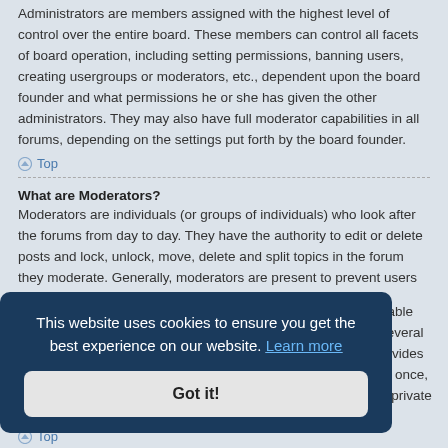Administrators are members assigned with the highest level of control over the entire board. These members can control all facets of board operation, including setting permissions, banning users, creating usergroups or moderators, etc., dependent upon the board founder and what permissions he or she has given the other administrators. They may also have full moderator capabilities in all forums, depending on the settings put forth by the board founder.
Top
What are Moderators?
Moderators are individuals (or groups of individuals) who look after the forums from day to day. They have the authority to edit or delete posts and lock, unlock, move, delete and split topics in the forum they moderate. Generally, moderators are present to prevent users from going off-topic or posting abusive or offensive material.
Top
...able ...several ...rovides ...at once, ...a private
[Figure (screenshot): Cookie consent banner with dark blue background. Text reads 'This website uses cookies to ensure you get the best experience on our website. Learn more' with a 'Got it!' button below.]
Top